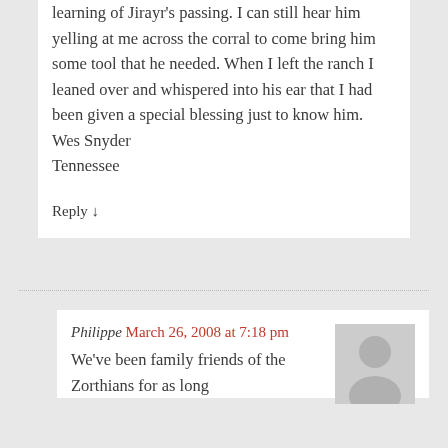learning of Jirayr's passing. I can still hear him yelling at me across the corral to come bring him some tool that he needed. When I left the ranch I leaned over and whispered into his ear that I had been given a special blessing just to know him.
Wes Snyder
Tennessee
Reply ↓
Philippe March 26, 2008 at 7:18 pm
[Figure (illustration): Grey avatar placeholder showing a silhouette of a person]
We've been family friends of the Zorthians for as long